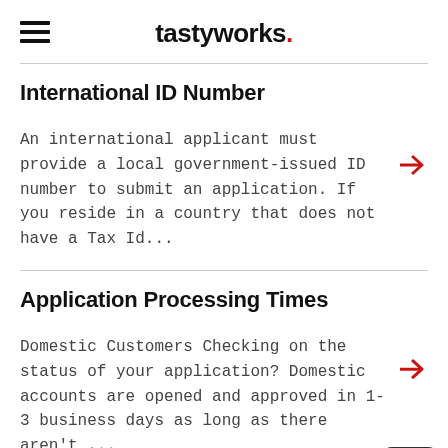tastyworks.
International ID Number
An international applicant must provide a local government-issued ID number to submit an application. If you reside in a country that does not have a Tax Id...
Application Processing Times
Domestic Customers Checking on the status of your application? Domestic accounts are opened and approved in 1-3 business days as long as there aren't ...